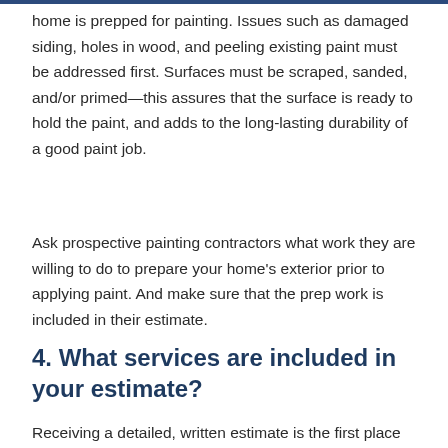home is prepped for painting. Issues such as damaged siding, holes in wood, and peeling existing paint must be addressed first. Surfaces must be scraped, sanded, and/or primed—this assures that the surface is ready to hold the paint, and adds to the long-lasting durability of a good paint job.
Ask prospective painting contractors what work they are willing to do to prepare your home's exterior prior to applying paint. And make sure that the prep work is included in their estimate.
4. What services are included in your estimate?
Receiving a detailed, written estimate is the first place